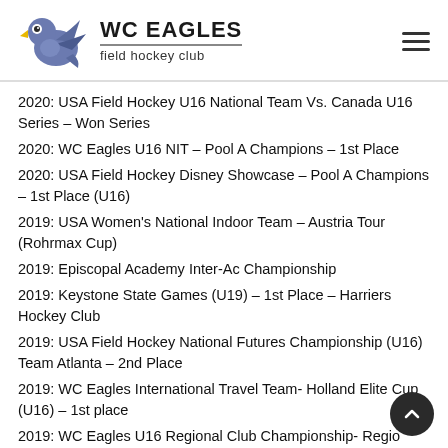WC EAGLES field hockey club
2020: USA Field Hockey U16 National Team Vs. Canada U16 Series – Won Series
2020: WC Eagles U16 NIT – Pool A Champions – 1st Place
2020: USA Field Hockey Disney Showcase – Pool A Champions – 1st Place (U16)
2019: USA Women's National Indoor Team – Austria Tour (Rohrmax Cup)
2019: Episcopal Academy Inter-Ac Championship
2019: Keystone State Games (U19) – 1st Place – Harriers Hockey Club
2019: USA Field Hockey National Futures Championship (U16) Team Atlanta – 2nd Place
2019: WC Eagles International Travel Team- Holland Elite Cup (U16) – 1st place
2019: WC Eagles U16 Regional Club Championship- Regio…